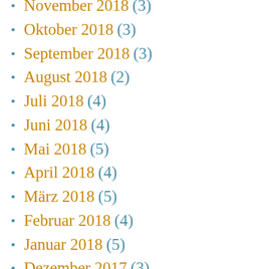November 2018 (3)
Oktober 2018 (3)
September 2018 (3)
August 2018 (2)
Juli 2018 (4)
Juni 2018 (4)
Mai 2018 (5)
April 2018 (4)
März 2018 (5)
Februar 2018 (4)
Januar 2018 (5)
Dezember 2017 (3)
November 2017 (5)
Oktober 2017 (5)
September 2017 (8)
August 2017 (4)
Juli 2017 (5)